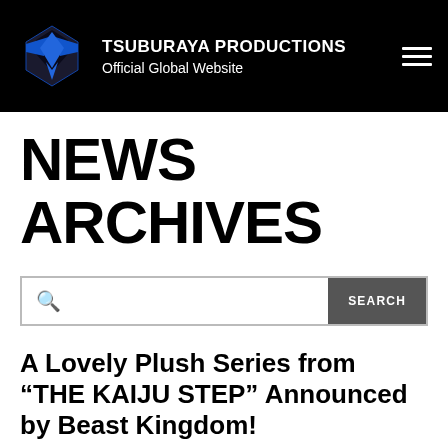TSUBURAYA PRODUCTIONS Official Global Website
NEWS ARCHIVES
Search
A Lovely Plush Series from "THE KAIJU STEP" Announced by Beast Kingdom!